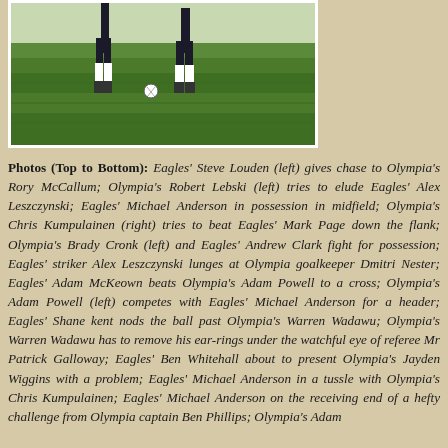[Figure (photo): Photo of a football/soccer match on a grass field, showing players in action. Two players visible from the waist down chasing a ball on green grass.]
Photos (Top to Bottom): Eagles' Steve Louden (left) gives chase to Olympia's Rory McCallum; Olympia's Robert Lebski (left) tries to elude Eagles' Alex Leszczynski; Eagles' Michael Anderson in possession in midfield; Olympia's Chris Kumpulainen (right) tries to beat Eagles' Mark Page down the flank; Olympia's Brady Cronk (left) and Eagles' Andrew Clark fight for possession; Eagles' striker Alex Leszczynski lunges at Olympia goalkeeper Dmitri Nester; Eagles' Adam McKeown beats Olympia's Adam Powell to a cross; Olympia's Adam Powell (left) competes with Eagles' Michael Anderson for a header; Eagles' Shane kent nods the ball past Olympia's Warren Wadawu; Olympia's Warren Wadawu has to remove his ear-rings under the watchful eye of referee Mr Patrick Galloway; Eagles' Ben Whitehall about to present Olympia's Jayden Wiggins with a problem; Eagles' Michael Anderson in a tussle with Olympia's Chris Kumpulainen; Eagles' Michael Anderson on the receiving end of a hefty challenge from Olympia captain Ben Phillips; Olympia's Adam Hede (left) and Eagles' Steve Louden in a tussle [Photo: Bi...]